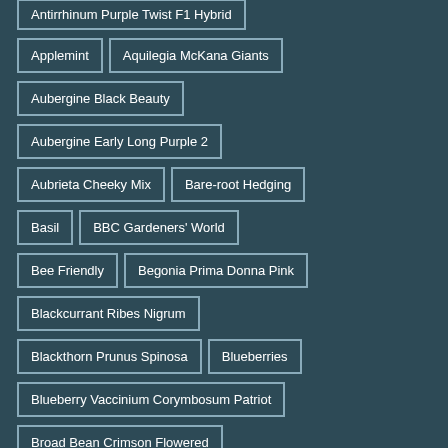Antirrhinum Purple Twist F1 Hybrid
Applemint
Aquilegia McKana Giants
Aubergine Black Beauty
Aubergine Early Long Purple 2
Aubrieta Cheeky Mix
Bare-root Hedging
Basil
BBC Gardeners' World
Bee Friendly
Begonia Prima Donna Pink
Blackcurrant Ribes Nigrum
Blackthorn Prunus Spinosa
Blueberries
Blueberry Vaccinium Corymbosum Patriot
Broad Bean Crimson Flowered
Broad Bean De Monica